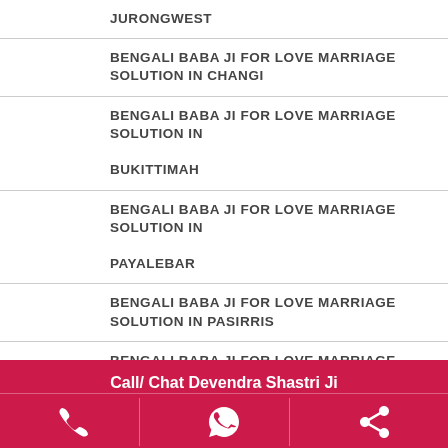JURONGWEST
BENGALI BABA JI FOR LOVE MARRIAGE SOLUTION IN CHANGI
BENGALI BABA JI FOR LOVE MARRIAGE SOLUTION IN BUKITTIMAH
BENGALI BABA JI FOR LOVE MARRIAGE SOLUTION IN PAYALEBAR
BENGALI BABA JI FOR LOVE MARRIAGE SOLUTION IN PASIRRIS
BENGALI BABA JI FOR LOVE MARRIAGE SOLUTION IN BISHAN
BENGALI BABA JI FOR LOVE MARRIAGE SOLUTION IN CHANGIBAY
Call/ Chat Devendra Shastri Ji
Solve Your All Problem In Few Hours.